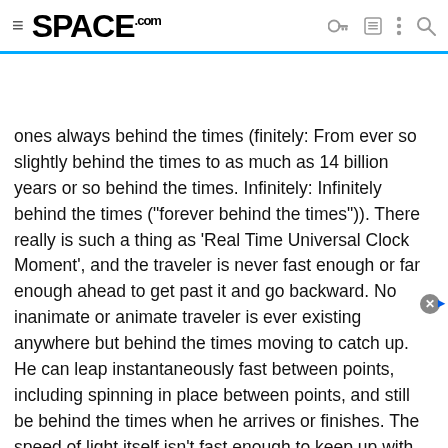SPACE.com navigation bar with hamburger menu, logo, and icons
ones always behind the times (finitely: From ever so slightly behind the times to as much as 14 billion years or so behind the times. Infinitely: Infinitely behind the times ("forever behind the times")). There really is such a thing as 'Real Time Universal Clock Moment', and the traveler is never fast enough or far enough ahead to get past it and go backward. No inanimate or animate traveler is ever existing anywhere but behind the times moving to catch up. He can leap instantaneously fast between points, including spinning in place between points, and still be behind the times when he arrives or finishes. The speed of light itself isn't fast enough to keep up with the "real time universal clock moment."
[Figure (screenshot): Best Buy advertisement banner with blue gradient background showing 'Free memory' text and a phone image]
[Figure (screenshot): Bottom advertisement for NEW Nuna Play Yards by albeebaby.com with product thumbnail and navigation arrow button]